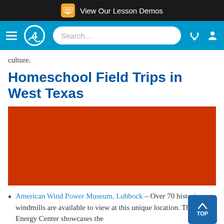View Our Lesson Demos
Search...
culture.
Homeschool Field Trips in West Texas
[Figure (photo): Orange/red solid color placeholder image block]
American Wind Power Museum, Lubbock – Over 70 historic windmills are available to view at this unique location. The Wind Energy Center showcases the